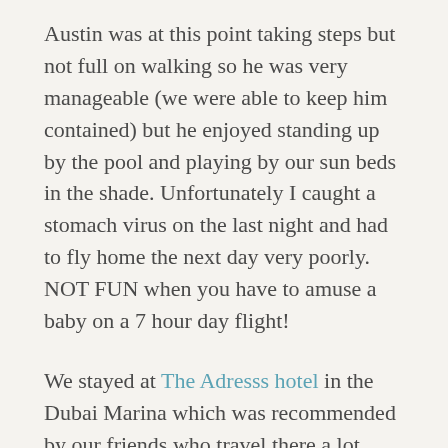Austin was at this point taking steps but not full on walking so he was very manageable (we were able to keep him contained) but he enjoyed standing up by the pool and playing by our sun beds in the shade. Unfortunately I caught a stomach virus on the last night and had to fly home the next day very poorly. NOT FUN when you have to amuse a baby on a 7 hour day flight!
We stayed at The Adresss hotel in the Dubai Marina which was recommended by our friends who travel there a lot with their son. The hotel is linked to a Mall with everything you could need for you and your baby shopping wise from Waitrose to Boots. The Marina is a great place to stay as lots of great